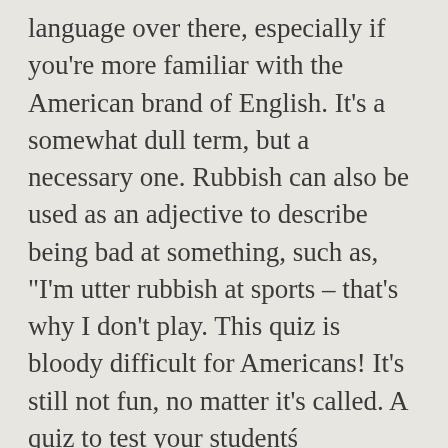language over there, especially if you're more familiar with the American brand of English. It's a somewhat dull term, but a necessary one. Rubbish can also be used as an adjective to describe being bad at something, such as, "I'm utter rubbish at sports – that's why I don't play. This quiz is bloody difficult for Americans! It's still not fun, no matter it's called. A quiz to test your studentś knowledge of the United Kingdom. For those who grew up Americanized, the stretch doesn't seem to be that far off. Types of biscuits include Jaffa Cakes, Jammie Dodgers, and Digestives, which are about as appetizing as they sound. 7 Minute Quiz This viral Astrotheme site reveals your celebrity soulmate based on your zodiac. As